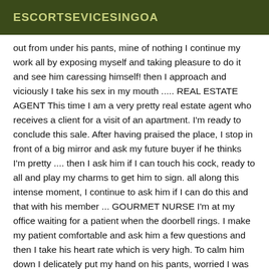ESCORTSEVICESINGOA
out from under his pants, mine of nothing I continue my work all by exposing myself and taking pleasure to do it and see him caressing himself! then I approach and viciously I take his sex in my mouth ..... REAL ESTATE AGENT This time I am a very pretty real estate agent who receives a client for a visit of an apartment. I'm ready to conclude this sale. After having praised the place, I stop in front of a big mirror and ask my future buyer if he thinks I'm pretty .... then I ask him if I can touch his cock, ready to all and play my charms to get him to sign. all along this intense moment, I continue to ask him if I can do this and that with his member ... GOURMET NURSE I'm at my office waiting for a patient when the doorbell rings. I make my patient comfortable and ask him a few questions and then I take his heart rate which is very high. To calm him down I delicately put my hand on his pants, worried I was breaking all the rules, I suddenly took it off. I kissed him and let him run